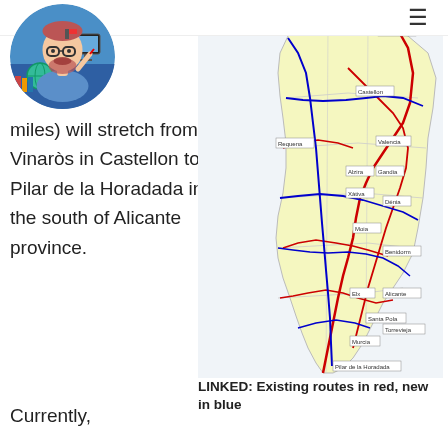[Figure (illustration): Cartoon avatar of a man with glasses, beard, sitting at a desk with a globe and books, circular crop]
miles) will stretch from Vinaròs in Castellon to Pilar de la Horadada in the south of Alicante province.
[Figure (map): Map of the Valencia/Alicante region of Spain showing cycling routes: existing routes in red, new routes in blue. Cities labeled include Vinaròs, Castellon, Valencia, Gandia, Dénia, Benidorm, Alicante, Torrevieja, Pilar de la Horadada and others.]
LINKED: Existing routes in red, new in blue
Currently,